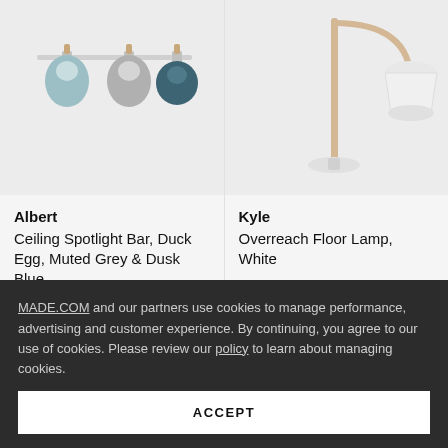[Figure (photo): Albert Ceiling Spotlight Bar with Duck Egg, Muted Grey and Dusk Blue spotlights on a rail, product photo on light grey background]
Albert
Ceiling Spotlight Bar, Duck Egg, Muted Grey & Dusk Blue
£ 85
[Figure (photo): Kyle Overreach Floor Lamp in White, product photo on light grey background]
Kyle
Overreach Floor Lamp, White
£ 110
MADE.COM and our partners use cookies to manage performance, advertising and customer experience. By continuing, you agree to our use of cookies. Please review our policy to learn about managing cookies.
ACCEPT